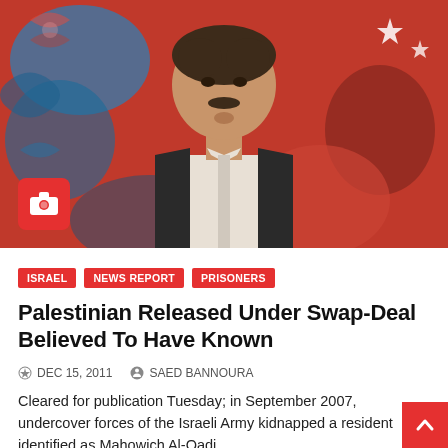[Figure (photo): Portrait of a Middle Eastern man with a mustache wearing a dark jacket over a light shirt, seated against a colorful patterned background with reds, blues and greens. A red camera icon badge overlays the bottom-left of the image.]
ISRAEL
NEWS REPORT
PRISONERS
Palestinian Released Under Swap-Deal Believed To Have Known
DEC 15, 2011   SAED BANNOURA
Cleared for publication Tuesday; in September 2007, undercover forces of the Israeli Army kidnapped a resident identified as Mahowich Al-Qadi...